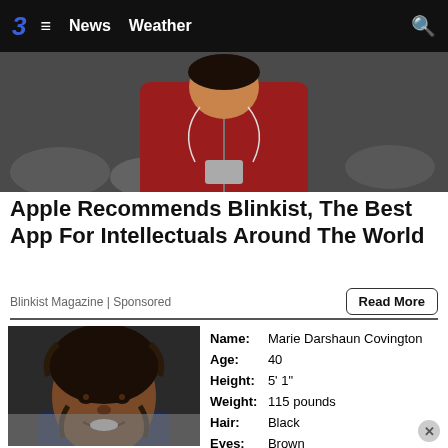3  ≡  News  Weather  🔍
[Figure (photo): Person in red hoodie with earbuds and phone, rocks in background]
Apple Recommends Blinkist, The Best App For Intellectuals Around The World
Blinkist Magazine | Sponsored
Read More
[Figure (photo): Headshot of Marie Darshaun Covington, a woman with braided hair, smiling]
| Field | Value |
| --- | --- |
| Name: | Marie Darshaun Covington |
| Age: | 40 |
| Height: | 5' 1" |
| Weight: | 115 pounds |
| Hair: | Black |
| Eyes: | Brown |